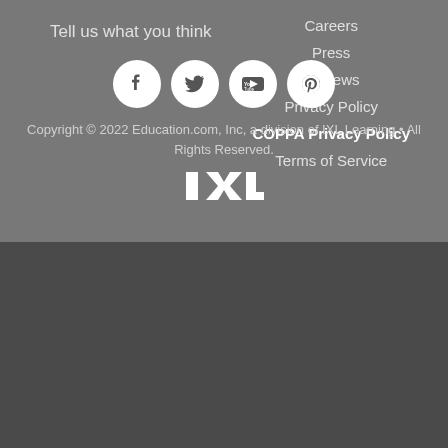Tell us what you think
Careers
Press
Reviews
Privacy Policy
COPPA Privacy Policy
Terms of Service
[Figure (illustration): Social media icons: Facebook, Twitter, YouTube, Pinterest — white icons in white circles on dark background]
Copyright © 2022 Education.com, Inc, a division of IXL Learning • All Rights Reserved.
[Figure (logo): IXL logo in white text on dark background]